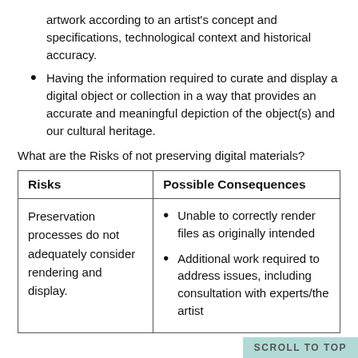artwork according to an artist's concept and specifications, technological context and historical accuracy.
Having the information required to curate and display a digital object or collection in a way that provides an accurate and meaningful depiction of the object(s) and our cultural heritage.
What are the Risks of not preserving digital materials?
| Risks | Possible Consequences |
| --- | --- |
| Preservation processes do not adequately consider rendering and display. | • Unable to correctly render files as originally intended
• Additional work required to address issues, including consultation with experts/the artist |